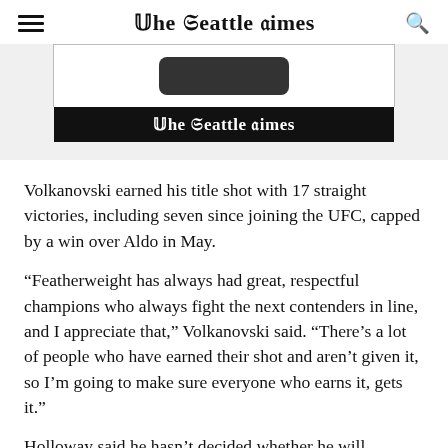The Seattle Times
[Figure (screenshot): Advertisement banner showing a smartphone with The Seattle Times app and the newspaper logo on a black background strip]
Volkanovski earned his title shot with 17 straight victories, including seven since joining the UFC, capped by a win over Aldo in May.
“Featherweight has always had great, respectful champions who always fight the next contenders in line, and I appreciate that,” Volkanovski said. “There’s a lot of people who have earned their shot and aren’t given it, so I’m going to make sure everyone who earns it, gets it.”
Holloway said he hasn’t decided whether he will